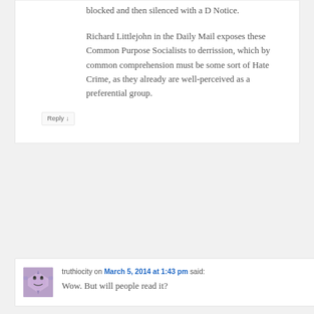blocked and then silenced with a D Notice.
Richard Littlejohn in the Daily Mail exposes these Common Purpose Socialists to derrission, which by common comprehension must be some sort of Hate Crime, as they already are well-perceived as a preferential group.
Reply ↓
truthiocity on March 5, 2014 at 1:43 pm said:
Wow. But will people read it?